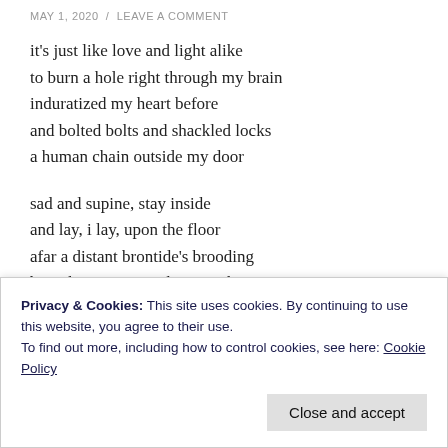MAY 1, 2020  /  LEAVE A COMMENT
it's just like love and light alike
to burn a hole right through my brain
induratized my heart before
and bolted bolts and shackled locks
a human chain outside my door

sad and supine, stay inside
and lay, i lay, upon the floor
afar a distant brontide's brooding
but what is near is oh so soothing

hand in hand we've been out walking
in summers glade, my heart alight
Privacy & Cookies: This site uses cookies. By continuing to use this website, you agree to their use.
To find out more, including how to control cookies, see here: Cookie Policy